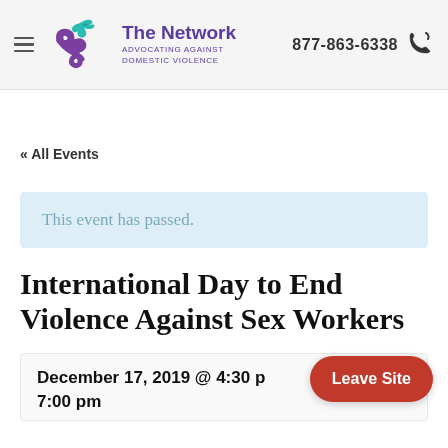[Figure (logo): The Network Advocating Against Domestic Violence logo with teal bird and purple spiral, phone number 877-863-6338]
« All Events
This event has passed.
International Day to End Violence Against Sex Workers
December 17, 2019 @ 4:30 pm - 7:00 pm